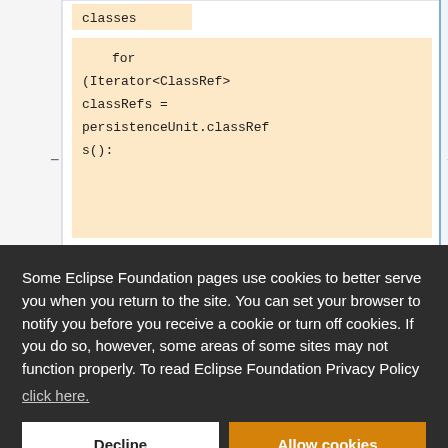[Figure (screenshot): Code editor screenshot showing a Java code block with 'classes' text and a for loop: 'for (Iterator<ClassRef> classRefs = persistenceUnit.classRefs();' with expand/collapse controls (minus and plus signs) and a blue vertical line separator]
Some Eclipse Foundation pages use cookies to better serve you when you return to the site. You can set your browser to notify you before you receive a cookie or turn off cookies. If you do so, however, some areas of some sites may not function properly. To read Eclipse Foundation Privacy Policy click here.
Decline
Allow cookies